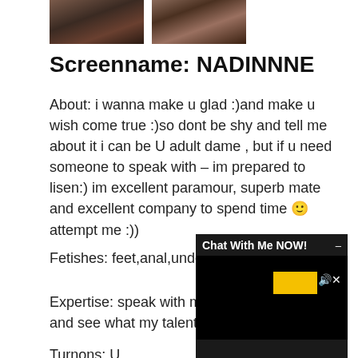[Figure (photo): Two thumbnail photos of a person]
Screenname: NADINNNE
About: i wanna make u glad :)and make u wish come true :)so dont be shy and tell me about it i can be U adult dame , but if u need someone to speak with – im prepared to lisen:) im excellent paramour, superb mate and excellent company to spend time 🙂 attempt me :))
Fetishes: feet,anal,underwear,voyeur,roleplay
Expertise: speak with me play time with me and see what my talents are
Turnons: U
[Figure (screenshot): Chat With Me NOW! overlay popup with yellow button and speaker icon on black background]